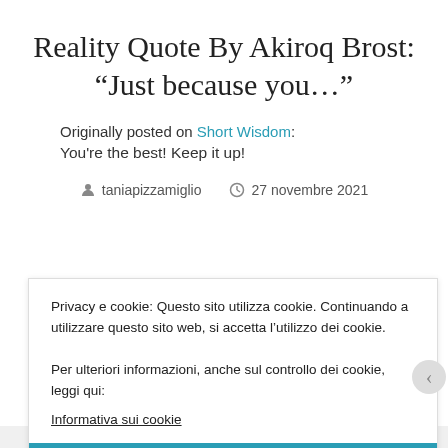Reality Quote By Akiroq Brost: “Just because you…”
Originally posted on Short Wisdom:
You're the best! Keep it up!
taniapizzamiglio   27 novembre 2021
Privacy e cookie: Questo sito utilizza cookie. Continuando a utilizzare questo sito web, si accetta l’utilizzo dei cookie.
Per ulteriori informazioni, anche sul controllo dei cookie, leggi qui:
Informativa sui cookie
Chiudi e accetta